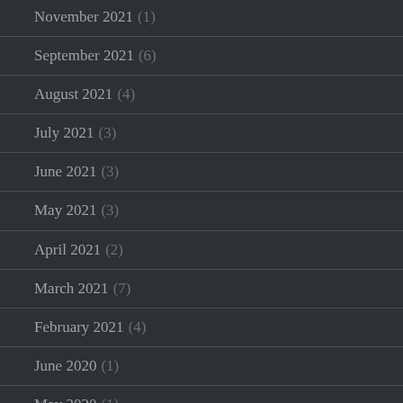November 2021 (1)
September 2021 (6)
August 2021 (4)
July 2021 (3)
June 2021 (3)
May 2021 (3)
April 2021 (2)
March 2021 (7)
February 2021 (4)
June 2020 (1)
May 2020 (1)